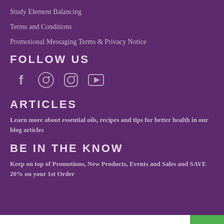Study Element Balancing
Terms and Conditions
Promotional Messaging Terms & Privacy Notice
FOLLOW US
[Figure (infographic): Social media icons: Facebook, Pinterest, Instagram, YouTube]
ARTICLES
Learn more about essential oils, recipes and tips for better health in our blog articles
BE IN THE KNOW
Keep on top of Promotions, New Products, Events and Sales and SAVE 20% on your 1st Order